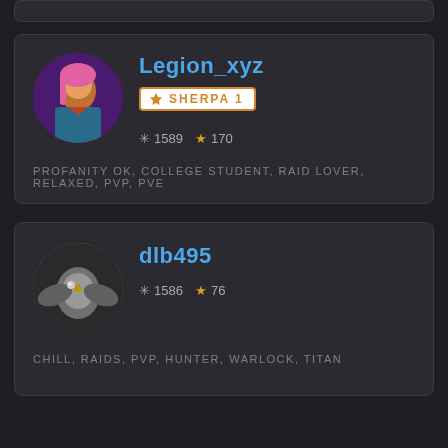[Figure (screenshot): Partial player card at top, clipped]
Legion_xyz
SHERPA 1
*1589 ★170
PROFANITY OK, COLLEGE STUDENT, RAID LOVER, RELAXED, PVP, PVE
dlb495
*1586 ★76
CHILL, RAIDS, PVP, HUNTER, WARLOCK, TITAN